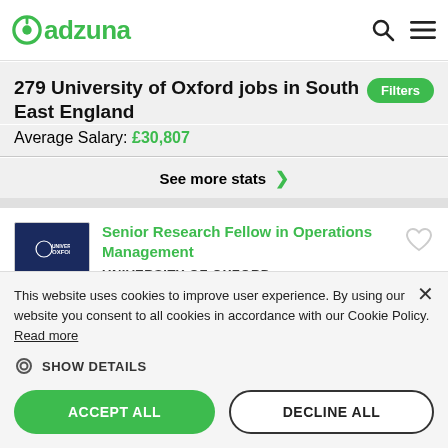adzuna
279 University of Oxford jobs in South East England
Average Salary: £30,807
See more stats ❯
Senior Research Fellow in Operations Management
UNIVERSITY OF OXFORD
This website uses cookies to improve user experience. By using our website you consent to all cookies in accordance with our Cookie Policy. Read more
SHOW DETAILS
ACCEPT ALL
DECLINE ALL